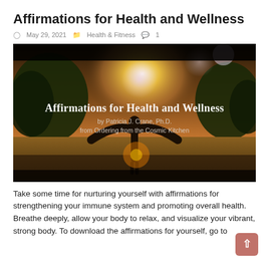Affirmations for Health and Wellness
May 29, 2021   Health & Fitness   1
[Figure (photo): Person standing with arms outstretched in a nature setting with trees and water, with overlaid text: 'Affirmations for Health and Wellness by Patricia J. Crane, Ph.D. from Ordering from the Cosmic Kitchen']
Take some time for nurturing yourself with affirmations for strengthening your immune system and promoting overall health. Breathe deeply, allow your body to relax, and visualize your vibrant, strong body. To download the affirmations for yourself, go to